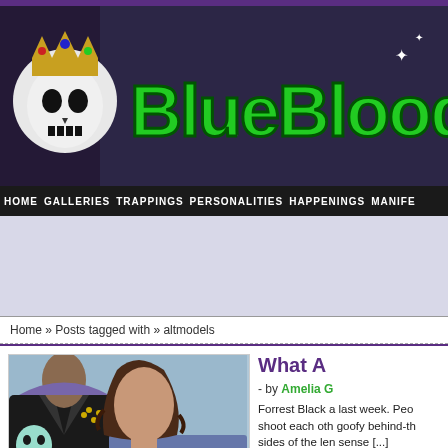[Figure (logo): Blue Blood website header banner with skull wearing a crown and green gothic 'BlueBlood' text on dark background]
HOME  GALLERIES  TRAPPINGS  PERSONALITIES  HAPPENINGS  MANIFE
[Figure (other): Advertisement placeholder area, light purple/gray background]
Home » Posts tagged with » altmodels
[Figure (photo): A man in a black leather jacket with a skull design and a woman with curly hair in a blue top with arms crossed, posed against a light blue background]
What A
- by Amelia G
Forrest Black a last week. Peo shoot each oth goofy behind-th sides of the len sense [...]